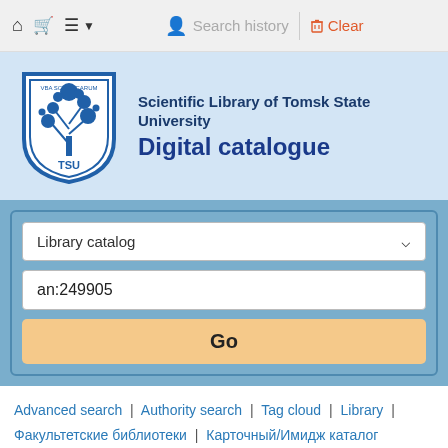🏠 🛒 ☰ ▾   👤 Search history | Clear
[Figure (logo): TSU shield logo with tree and text VBA SCIENTEARUM, TSU in blue]
Scientific Library of Tomsk State University
Digital catalogue
Library catalog (dropdown) | an:249905 (search input) | Go (button)
Advanced search | Authority search | Tag cloud | Library | Факультетские библиотеки | Карточный/Имидж каталог
Your search returned 5 results.